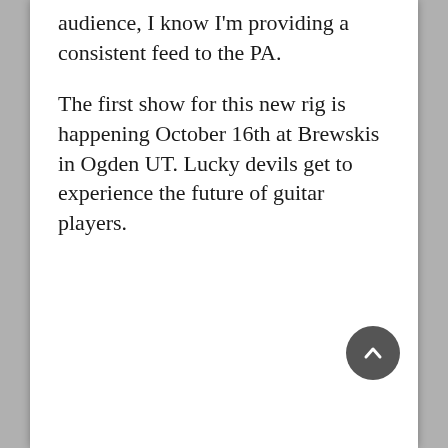audience, I know I'm providing a consistent feed to the PA.
The first show for this new rig is happening October 16th at Brewskis in Ogden UT. Lucky devils get to experience the future of guitar players.